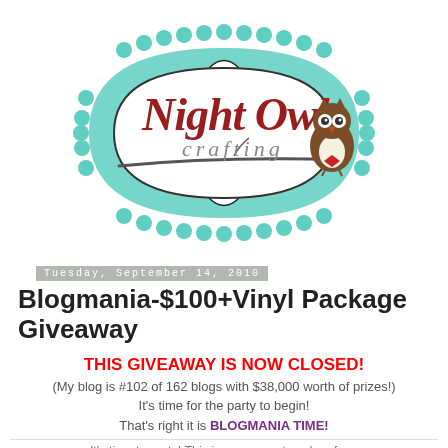[Figure (logo): Night Owl Crafting logo: teal scalloped border frame with black decorative label shape, red cursive 'Night Owl' text, gray italic 'crafting' text, brown cartoon owl perched on a branch inside]
Tuesday, September 14, 2010
Blogmania-$100+Vinyl Package Giveaway
THIS GIVEAWAY IS NOW CLOSED!
(My blog is #102 of 162 blogs with $38,000 worth of prizes!) It's time for the party to begin! That's right it is BLOGMANIA TIME!
It's time to party! This is your one stop shop for...